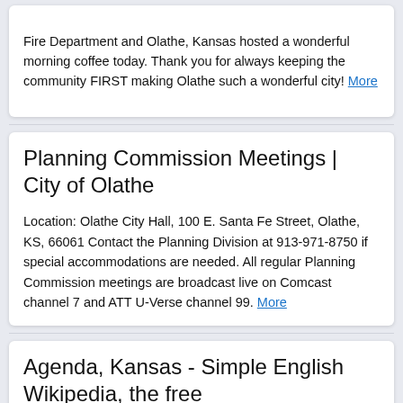Fire Department and Olathe, Kansas hosted a wonderful morning coffee today. Thank you for always keeping the community FIRST making Olathe such a wonderful city! More
Planning Commission Meetings | City of Olathe
Location: Olathe City Hall, 100 E. Santa Fe Street, Olathe, KS, 66061 Contact the Planning Division at 913-971-8750 if special accommodations are needed. All regular Planning Commission meetings are broadcast live on Comcast channel 7 and ATT U-Verse channel 99. More
Agenda, Kansas - Simple English Wikipedia, the free